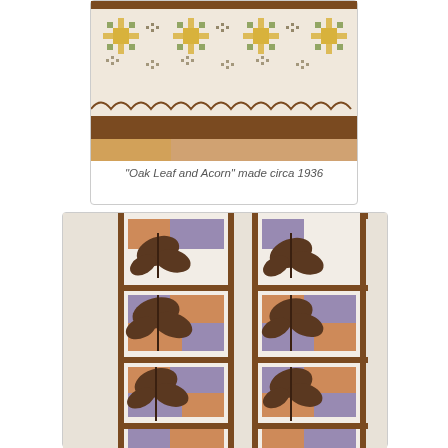[Figure (photo): Close-up photo of 'Oak Leaf and Acorn' quilt made circa 1936, showing white fabric with yellow and brown cross-stitch floral patterns and a brown scalloped border at the bottom.]
"Oak Leaf and Acorn" made circa 1936
[Figure (photo): Photo of a quilt showing two vertical columns of quilt blocks, each block featuring a brown leaf/plant applique over orange and lavender/purple square background pieces on a white ground, with brown sashing between blocks.]